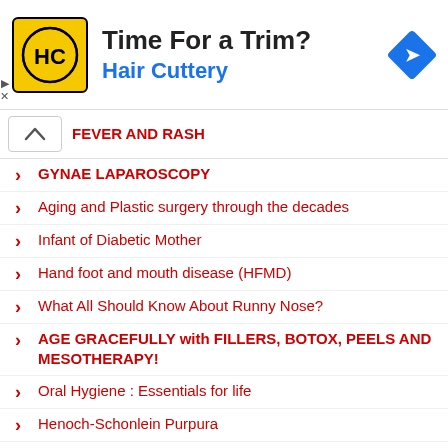[Figure (infographic): Hair Cuttery advertisement banner with logo (HC in yellow square), headline 'Time For a Trim?', brand name 'Hair Cuttery' in blue, and a blue navigation diamond icon]
FEVER AND RASH
GYNAE LAPAROSCOPY
Aging and Plastic surgery through the decades
Infant of Diabetic Mother
Hand foot and mouth disease (HFMD)
What All Should Know About Runny Nose?
AGE GRACEFULLY with FILLERS, BOTOX, PEELS AND MESOTHERAPY!
Oral Hygiene : Essentials for life
Henoch-Schonlein Purpura
Epilepsy
Euphoria of the Para Olympic
Reaching Your Fitness Goals
KNOW YOUR ORTHODONTIST